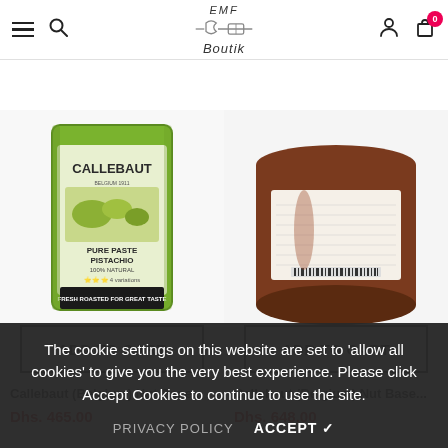[Figure (screenshot): EMF Boutik e-commerce website header with hamburger menu, search icon, logo (EMF Boutik with rolling pin SVG), user icon, and cart icon showing 0 items]
[Figure (screenshot): Sort toolbar with filter sliders icon, 'Alphabetically, A-Z' dropdown selector, and list/grid view toggle icons]
[Figure (photo): Callebaut Pure Paste Pistachio product tin - green label with pistachio nuts imagery]
[Figure (photo): Callebaut brown container showing back label with nutritional info and barcode]
ADD TO CART
ADD TO CART
Callebaut (Belgium) Nut Base...
Callebaut (Belgium) Nut Base...
Dhs. 465.00
Dhs. 648.00
The cookie settings on this website are set to 'allow all cookies' to give you the very best experience. Please click Accept Cookies to continue to use the site.
PRIVACY POLICY
ACCEPT ✔